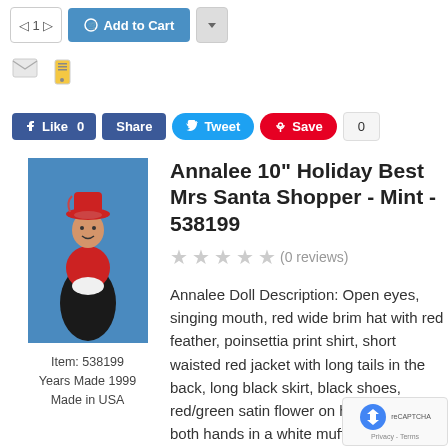[Figure (screenshot): Top navigation bar with quantity selector, Add to Cart button, dropdown button]
[Figure (screenshot): Email and phone notification icons]
[Figure (screenshot): Social media buttons: Like 0, Share, Tweet, Save 0]
[Figure (photo): Annalee Mrs Santa Shopper doll wearing red hat and black skirt, displayed against blue background]
Item: 538199
Years Made 1999
Made in USA
Annalee 10" Holiday Best Mrs Santa Shopper - Mint - 538199
(0 reviews)
Annalee Doll Description: Open eyes, singing mouth, red wide brim hat with red feather, poinsettia print shirt, short waisted red jacket with long tails in the back, long black skirt, black shoes, red/green satin flower on her lapel, has both hands in a white muff, gre... base. She looks great displaye... the Dickens Series or with your carolers